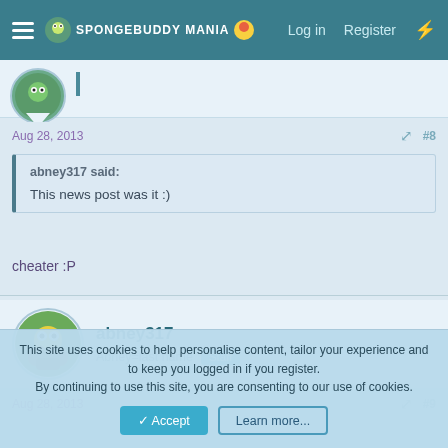SpongeBuddy Mania — Log in  Register
Aug 28, 2013  #8
abney317 said:
This news post was it :)
cheater :P
abney317
Abney=last name  Staff
Aug 28, 2013  #9
This site uses cookies to help personalise content, tailor your experience and to keep you logged in if you register.
By continuing to use this site, you are consenting to our use of cookies.